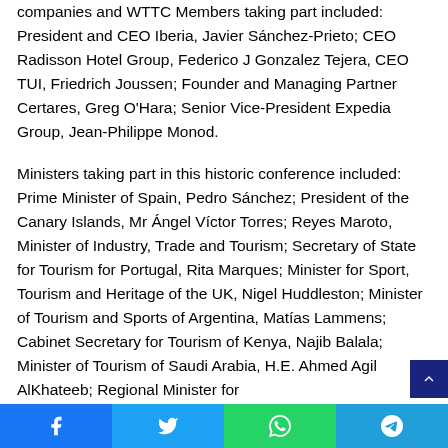companies and WTTC Members taking part included: President and CEO Iberia, Javier Sánchez-Prieto; CEO Radisson Hotel Group, Federico J Gonzalez Tejera, CEO TUI, Friedrich Joussen; Founder and Managing Partner Certares, Greg O'Hara; Senior Vice-President Expedia Group, Jean-Philippe Monod.
Ministers taking part in this historic conference included: Prime Minister of Spain, Pedro Sánchez; President of the Canary Islands, Mr Ángel Víctor Torres; Reyes Maroto, Minister of Industry, Trade and Tourism; Secretary of State for Tourism for Portugal, Rita Marques; Minister for Sport, Tourism and Heritage of the UK, Nigel Huddleston; Minister of Tourism and Sports of Argentina, Matías Lammens; Cabinet Secretary for Tourism of Kenya, Najib Balala; Minister of Tourism of Saudi Arabia, H.E. Ahmed Agil AlKhateeb; Regional Minister for